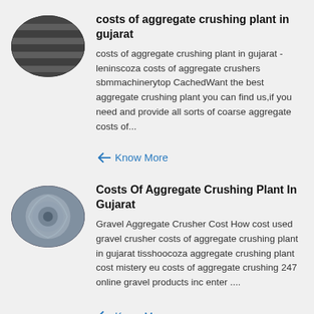[Figure (photo): Oval thumbnail image of metal aggregate crusher machinery, dark metallic ridged cylinders]
costs of aggregate crushing plant in gujarat
costs of aggregate crushing plant in gujarat - leninscoza costs of aggregate crushers sbmmachinerytop CachedWant the best aggregate crushing plant you can find us,if you need and provide all sorts of coarse aggregate costs of...
Know More
[Figure (photo): Oval thumbnail image of aggregate crushing plant machinery, close-up of crusher mechanism with metallic parts]
Costs Of Aggregate Crushing Plant In Gujarat
Gravel Aggregate Crusher Cost How cost used gravel crusher costs of aggregate crushing plant in gujarat tisshoocoza aggregate crushing plant cost mistery eu costs of aggregate crushing 247 online gravel products inc enter ....
Know More